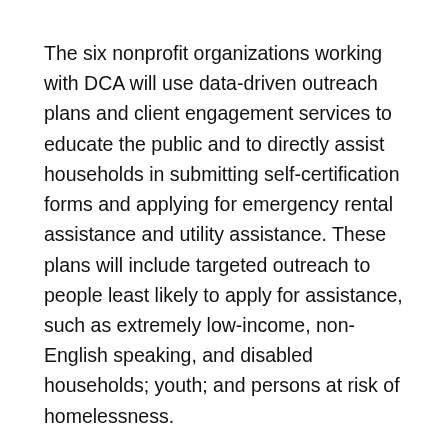The six nonprofit organizations working with DCA will use data-driven outreach plans and client engagement services to educate the public and to directly assist households in submitting self-certification forms and applying for emergency rental assistance and utility assistance. These plans will include targeted outreach to people least likely to apply for assistance, such as extremely low-income, non-English speaking, and disabled households; youth; and persons at risk of homelessness.
The organizations will partner with local agencies to harness hyper-local community knowledge and will gather lived experience feedback for continuous improvement in messaging. Outreach will include peer-to-peer direct assistance via computer tablets; canvassing at community events, local businesses, community centers, libraries, schools, houses of worship, food pantries, and other touch